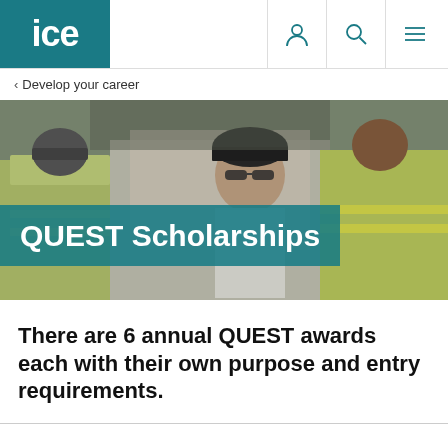ICE
< Develop your career
[Figure (photo): Construction workers in high-visibility vests and hard hats on a job site, with one worker looking down.]
QUEST Scholarships
There are 6 annual QUEST awards each with their own purpose and entry requirements.
In this section